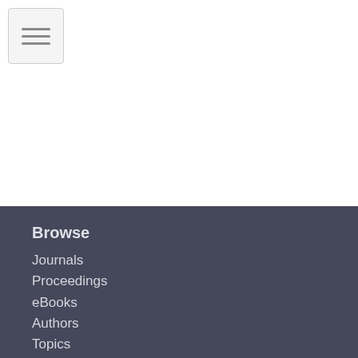[Figure (screenshot): Top white area with hamburger menu button in top-left corner]
Browse
Journals
Proceedings
eBooks
Authors
Topics
Multimedia
Research